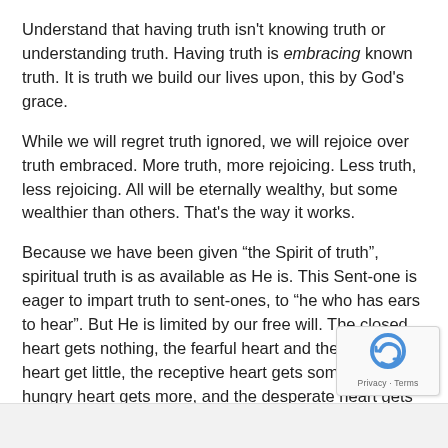Understand that having truth isn't knowing truth or understanding truth. Having truth is embracing known truth. It is truth we build our lives upon, this by God's grace.
While we will regret truth ignored, we will rejoice over truth embraced. More truth, more rejoicing. Less truth, less rejoicing. All will be eternally wealthy, but some wealthier than others. That's the way it works.
Because we have been given “the Spirit of truth”, spiritual truth is as available as He is. This Sent-one is eager to impart truth to sent-ones, to “he who has ears to hear”. But He is limited by our free will. The closed heart gets nothing, the fearful heart and the divided heart get little, the receptive heart gets some, the hungry heart gets more, and the desperate heart gets much.
We each have the amount of truth desired. Exactly.